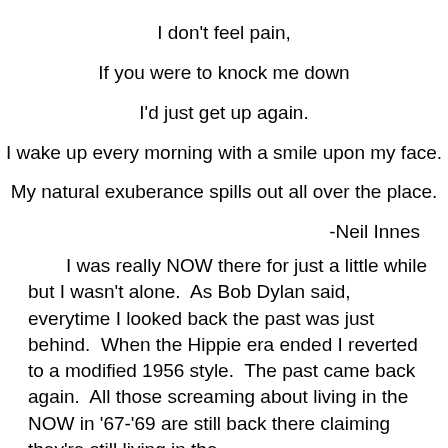I don't feel pain,
If you were to knock me down
I'd just get up again.
I wake up every morning with a smile upon my face.
My natural exuberance spills out all over the place.
-Neil Innes
I was really NOW there for just a little while but I wasn't alone.  As Bob Dylan said, everytime I looked back the past was just behind.  When the Hippie era ended I reverted to a modified 1956 style.  The past came back again.  All those screaming about living in the NOW in '67-'69 are still back there claiming they're still living in the